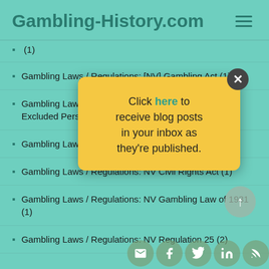Gambling-History.com
(1)
Gambling Laws / Regulations: [NV] Gambling Act (1)
Gambling Laws / Regulations: NV Black Book / Excluded Persons List (1)
Gambling Laws / Regulations: [NV] Lottery Law (2)
Gambling Laws / Regulations: NV Civil Rights Act (1)
Gambling Laws / Regulations: NV Gambling Law of 1931 (1)
Gambling Laws / Regulations: NV Regulation 25 (2)
[Figure (infographic): Popup modal with yellow background saying 'Click here to receive blog posts in your inbox as they're published.' with a close X button in dark circle top right.]